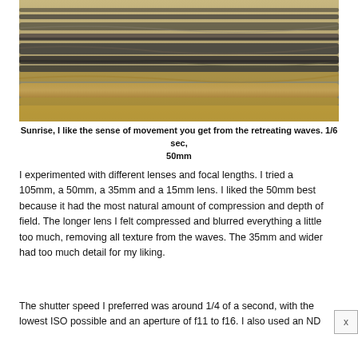[Figure (photo): Long-exposure photograph of ocean waves at sunrise, showing motion blur of retreating waves with golden and dark tones blending together.]
Sunrise, I like the sense of movement you get from the retreating waves. 1/6 sec, 50mm
I experimented with different lenses and focal lengths. I tried a 105mm, a 50mm, a 35mm and a 15mm lens. I liked the 50mm best because it had the most natural amount of compression and depth of field. The longer lens I felt compressed and blurred everything a little too much, removing all texture from the waves. The 35mm and wider had too much detail for my liking.
The shutter speed I preferred was around 1/4 of a second, with the lowest ISO possible and an aperture of f11 to f16. I also used an ND